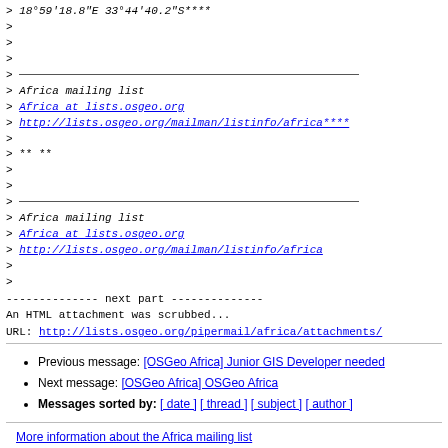> 18°59'18.8"E 33°44'40.2"S****
>
>
>
> ___
> Africa mailing list
> Africa at lists.osgeo.org
> http://lists.osgeo.org/mailman/listinfo/africa****
>
> ** **
>
>
> ___
> Africa mailing list
> Africa at lists.osgeo.org
> http://lists.osgeo.org/mailman/listinfo/africa
>
>
-------------- next part --------------
An HTML attachment was scrubbed...
URL: http://lists.osgeo.org/pipermail/africa/attachments/
Previous message: [OSGeo Africa] Junior GIS Developer needed
Next message: [OSGeo Africa] OSGeo Africa
Messages sorted by: [ date ] [ thread ] [ subject ] [ author ]
More information about the Africa mailing list